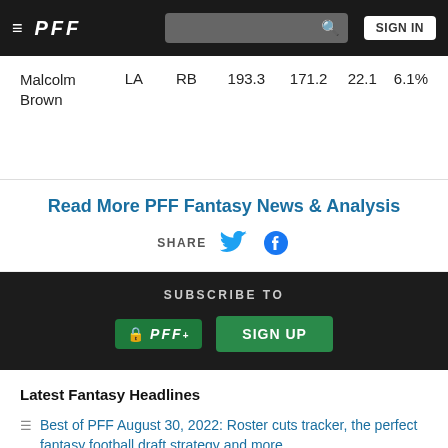PFF — SIGN IN
| Player | Team | Pos |  |  |  |  |
| --- | --- | --- | --- | --- | --- | --- |
| Malcolm Brown | LA | RB | 193.3 | 171.2 | 22.1 | 6.1% |
Read More PFF Fantasy News & Analysis
SHARE
SUBSCRIBE TO
SIGN UP
Latest Fantasy Headlines
Best of PFF August 30, 2022: Roster cuts tracker, the perfect fantasy football draft strategy and more